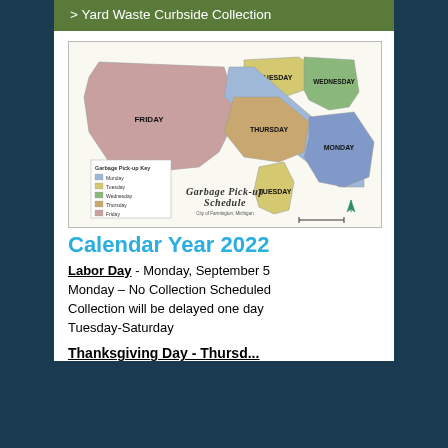> Yard Waste Curbside Collection
[Figure (map): Garbage Pick-up Schedule map for City of Farmington, Michigan, showing colored zones for Monday, Tuesday, Wednesday, Thursday, and Friday collection days.]
Calendar Year 2022
Labor Day - Monday, September 5 Monday – No Collection Scheduled Collection will be delayed one day Tuesday-Saturday
Thanksgiving Day - Thursday...